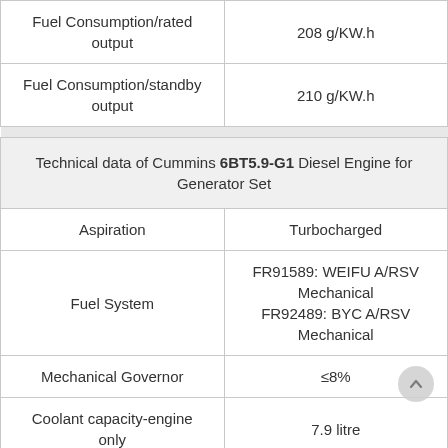| Parameter | Value |
| --- | --- |
| Fuel Consumption/rated output | 208 g/KW.h |
| Fuel Consumption/standby output | 210 g/KW.h |
| Technical data of Cummins 6BT5.9-G1 Diesel Engine for Generator Set |  |
| Aspiration | Turbocharged |
| Fuel System | FR91589: WEIFU A/RSV Mechanical
FR92489: BYC A/RSV Mechanical |
| Mechanical Governor | ≤8% |
| Coolant capacity-engine only | 7.9 litre |
| Mimimum Lubricant |  |